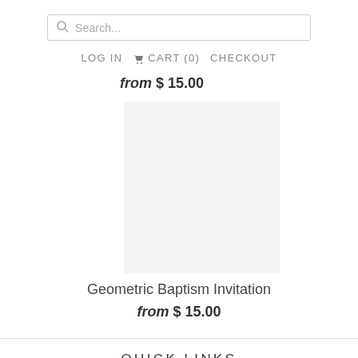[Figure (screenshot): Search bar with magnifying glass icon and placeholder text 'Search...']
LOG IN   CART (0)   CHECKOUT
from $ 15.00
[Figure (other): Product image area for Geometric Baptism Invitation (blank/white area)]
Geometric Baptism Invitation
from $ 15.00
QUICK LINKS